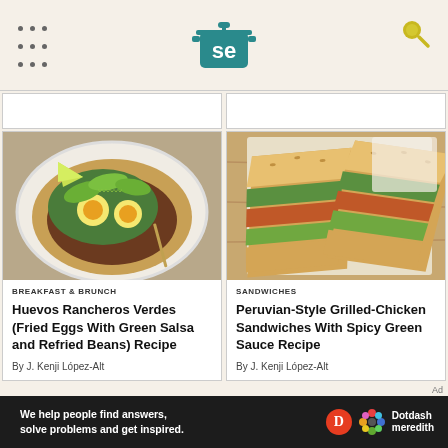Serious Eats - se logo header
[Figure (photo): Huevos Rancheros Verdes - fried egg dish on tortilla with avocado, green salsa, and lime]
BREAKFAST & BRUNCH
Huevos Rancheros Verdes (Fried Eggs With Green Salsa and Refried Beans) Recipe
By J. Kenji López-Alt
[Figure (photo): Peruvian-Style Grilled-Chicken Sandwiches on ciabatta with green sauce and avocado]
SANDWICHES
Peruvian-Style Grilled-Chicken Sandwiches With Spicy Green Sauce Recipe
By J. Kenji López-Alt
We help people find answers, solve problems and get inspired. Dotdash meredith